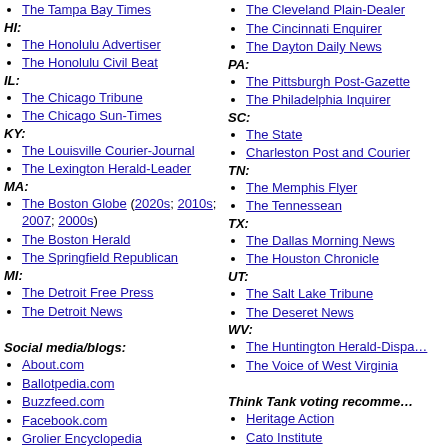The Tampa Bay Times
HI:
The Honolulu Advertiser
The Honolulu Civil Beat
IL:
The Chicago Tribune
The Chicago Sun-Times
KY:
The Louisville Courier-Journal
The Lexington Herald-Leader
MA:
The Boston Globe (2020s; 2010s; 2007; 2000s)
The Boston Herald
The Springfield Republican
MI:
The Detroit Free Press
The Detroit News
Social media/blogs:
About.com
Ballotpedia.com
Buzzfeed.com
Facebook.com
Grolier Encyclopedia
iSideWith.com
Medium.com
Salon.com
Slate.com
Snopes.com
ScotusBlog.com
Twitter.com
Wikipedia
The Cleveland Plain-Dealer
The Cincinnati Enquirer
The Dayton Daily News
PA:
The Pittsburgh Post-Gazette
The Philadelphia Inquirer
SC:
The State
Charleston Post and Courier
TN:
The Memphis Flyer
The Tennessean
TX:
The Dallas Morning News
The Houston Chronicle
UT:
The Salt Lake Tribune
The Deseret News
WV:
The Huntington Herald-Dispatch
The Voice of West Virginia
Think Tank voting recommendations:
Heritage Action
Cato Institute
Sierra Club
ACLU
CannabisVoter / MPP
Sunday Talk Shows:
ABC This Week (2020; 2019;
CNN "State of the Union" (2020; 2019)